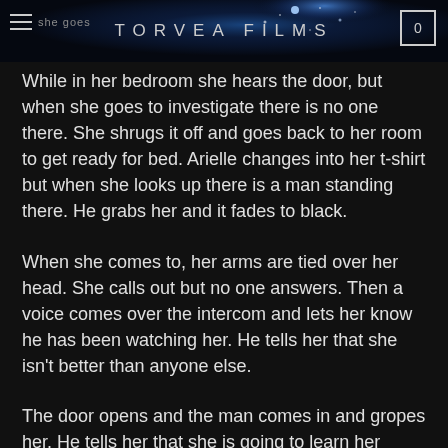TORVEA FILMS
While in her bedroom she hears the door, but when she goes to investigate there is no one there. She shrugs it off and goes back to her room to get ready for bed. Arielle changes into her t-shirt but when she looks up there is a man standing there. He grabs her and it fades to black.
When she comes to, her arms are tied over her head. She calls out but no one answers. Then a voice comes over the intercom and lets her know he has been watching her. He tells her that she isn't better than anyone else.
The door opens and the man comes in and gropes her. He tells her that she is going to learn her place. She struggles to get away from him but her arms are tied over head. He lifts up her shirt and when she tries to fight her he rips open her shirt. Taking his time to tear it from her arms leaving the